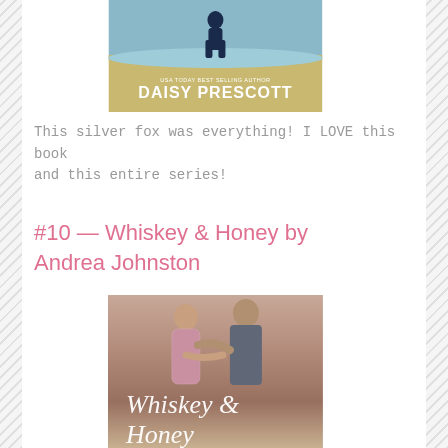[Figure (illustration): Book cover showing a silhouetted figure on a beach with the text 'USA TODAY BEST SELLING AUTHOR' and 'DAISY PRESCOTT' at the bottom]
This silver fox was everything! I LOVE this book and this entire series!
#10 — Whiskey & Honey by Andrea Johnston
[Figure (illustration): Book cover for 'Whiskey & Honey' showing a couple embracing, with the title in cursive script at the bottom]